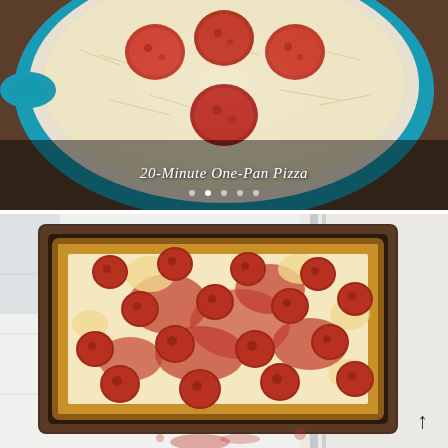[Figure (photo): Overhead view of a round blue pan (skillet) with a pepperoni pizza inside, showing shredded mozzarella cheese and large pepperoni slices on top, on a wooden surface. Caption overlay reads '20-Minute One-Pan Pizza' with navigation dots below.]
20-Minute One-Pan Pizza
[Figure (photo): Overhead view of a rectangular Detroit-style pepperoni pizza in a dark wooden/metal baking pan, with thick tomato sauce, cheese, and many pepperoni slices, on a white surface with a striped cloth napkin. An up arrow icon visible at bottom right.]